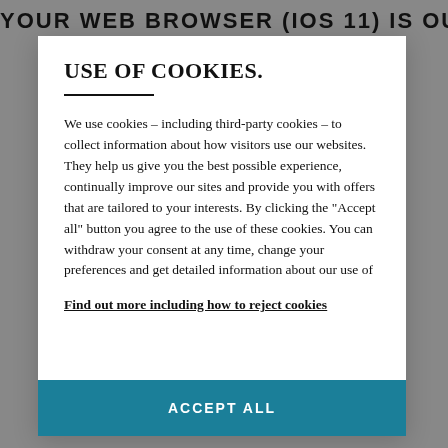YOUR WEB BROWSER (IOS 11) IS OUT
USE OF COOKIES.
We use cookies – including third-party cookies – to collect information about how visitors use our websites. They help us give you the best possible experience, continually improve our sites and provide you with offers that are tailored to your interests. By clicking the "Accept all" button you agree to the use of these cookies. You can withdraw your consent at any time, change your preferences and get detailed information about our use of
Find out more including how to reject cookies
ACCEPT ALL